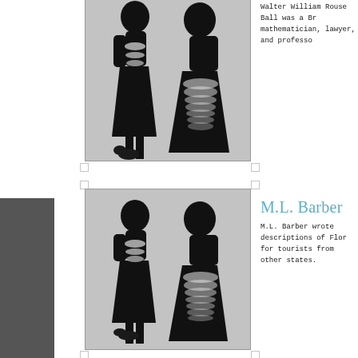[Figure (illustration): Silhouette illustration of two figures in period costume (top, partially visible)]
Walter William Rouse Ball was a Br mathematician, lawyer, and professo
[Figure (illustration): Silhouette illustration of two figures in period costume]
M.L. Barber
M.L. Barber wrote descriptions of Flor for tourists from other states.
[Figure (illustration): Silhouette illustration of two figures in period costume (bottom, partially visible)]
Richard Barnum
Richard Barnum is a pseudonym liste the author of the Kneetime Animal S series, including T mischievous adver of Squinty the Grand P...